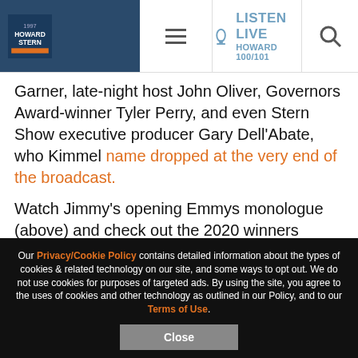Howard Stern - LISTEN LIVE HOWARD 100/101
Garner, late-night host John Oliver, Governors Award-winner Tyler Perry, and even Stern Show executive producer Gary Dell’Abate, who Kimmel name dropped at the very end of the broadcast.
Watch Jimmy’s opening Emmys monologue (above) and check out the 2020 winners (below).
Outstanding drama series:
“Better Call Saul” (AMC)
Our Privacy/Cookie Policy contains detailed information about the types of cookies & related technology on our site, and some ways to opt out. We do not use cookies for purposes of targeted ads. By using the site, you agree to the uses of cookies and other technology as outlined in our Policy, and to our Terms of Use.